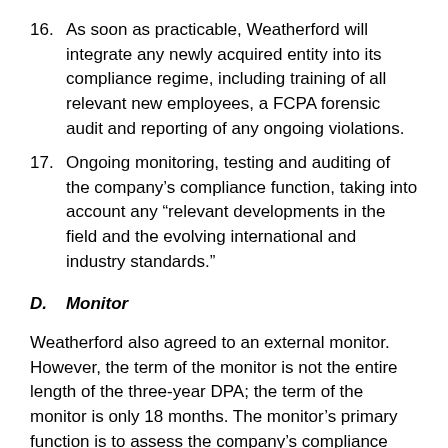16. As soon as practicable, Weatherford will integrate any newly acquired entity into its compliance regime, including training of all relevant new employees, a FCPA forensic audit and reporting of any ongoing violations.
17. Ongoing monitoring, testing and auditing of the company’s compliance function, taking into account any “relevant developments in the field and the evolving international and industry standards.”
D.   Monitor
Weatherford also agreed to an external monitor. However, the term of the monitor is not the entire length of the three-year DPA; the term of the monitor is only 18 months. The monitor’s primary function is to assess the company’s compliance with the terms of the DPA and report the